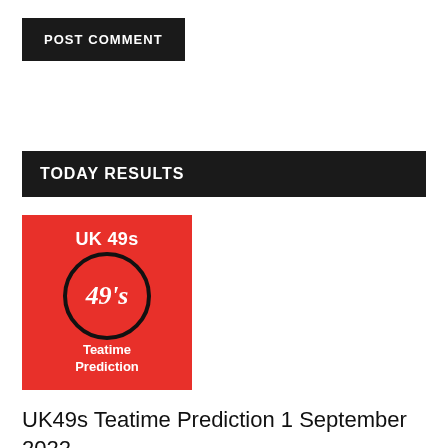POST COMMENT
TODAY RESULTS
[Figure (logo): UK 49s Teatime Prediction logo: red square with white bold text 'UK 49s' at top, a black-bordered white circle in center with italic text '49's', and bold white text 'Teatime Prediction' at bottom.]
UK49s Teatime Prediction 1 September 2022